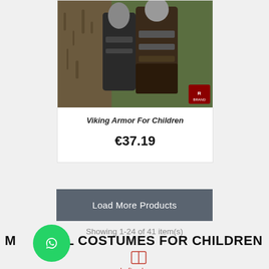[Figure (photo): Viking armor costume for children — two children wearing dark medieval armor standing near a tree trunk]
Viking Armor For Children
€37.19
Load More Products
Showing 1-24 of 41 item(s)
MEDIEVAL COSTUMES FOR CHILDREN
[Figure (illustration): WhatsApp contact button (green circle with phone/chat icon)]
Left column